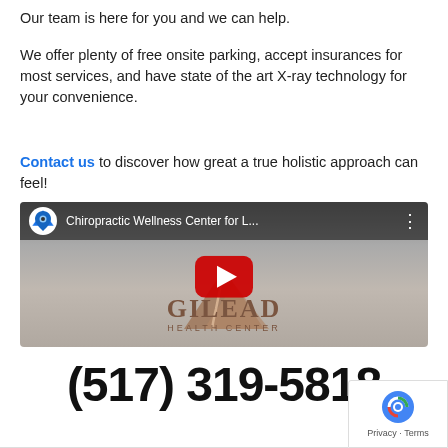Our team is here for you and we can help.
We offer plenty of free onsite parking, accept insurances for most services, and have state of the art X-ray technology for your convenience.
Contact us to discover how great a true holistic approach can feel!
[Figure (screenshot): YouTube video thumbnail showing Chiropractic Wellness Center for L... with Gilead Health Center logo and red play button]
(517) 319-5818